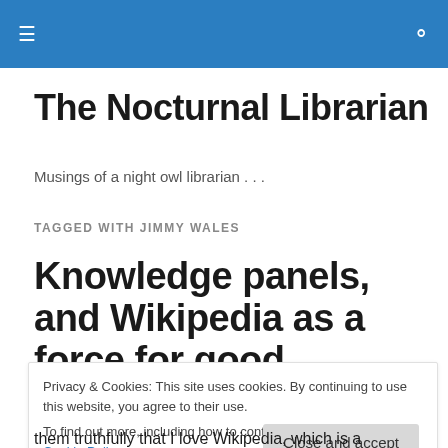≡  🔍
The Nocturnal Librarian
Musings of a night owl librarian . . .
TAGGED WITH JIMMY WALES
Knowledge panels, and Wikipedia as a force for good
Privacy & Cookies: This site uses cookies. By continuing to use this website, you agree to their use.
To find out more, including how to control cookies, see here: Cookie Policy
them truthfully that I love Wikipedia, which is a community